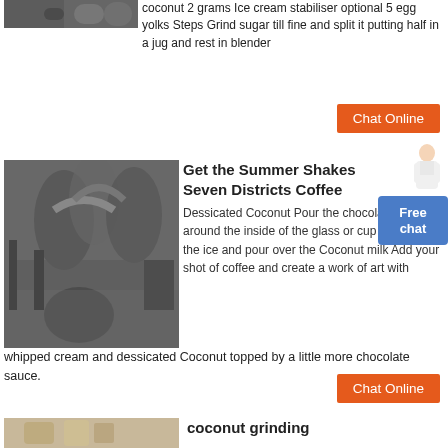[Figure (photo): Industrial machinery photo at top]
coconut 2 grams Ice cream stabiliser optional 5 egg yolks Steps Grind sugar till fine and split it putting half in a jug and rest in blender
Chat Online
[Figure (photo): Industrial grinding/milling machinery with pipes and ducts]
Get the Summer Shakes Seven Districts Coffee
Free chat
Dessicated Coconut Pour the chocolate sauce around the inside of the glass or cup throw in the ice and pour over the Coconut milk Add your shot of coffee and create a work of art with whipped cream and dessicated Coconut topped by a little more chocolate sauce.
Chat Online
[Figure (photo): Coconut grinding equipment at bottom]
coconut grinding